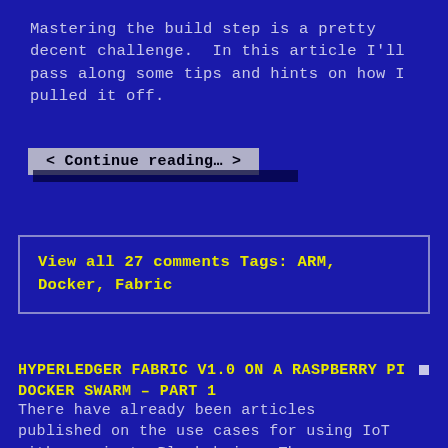Mastering the build step is a pretty decent challenge.  In this article I'll pass along some tips and hints on how I pulled it off.
< Continue reading… >
View all 27 comments Tags: ARM, Docker, Fabric
HYPERLEDGER FABRIC V1.0 ON A RASPBERRY PI DOCKER SWARM – PART 1
There have already been articles published on the use cases for using IoT with a private Blockchain.  The possibilities are really exciting but what if we could run the blockchain ON our IoT network.  That sounds like a fun project to me!